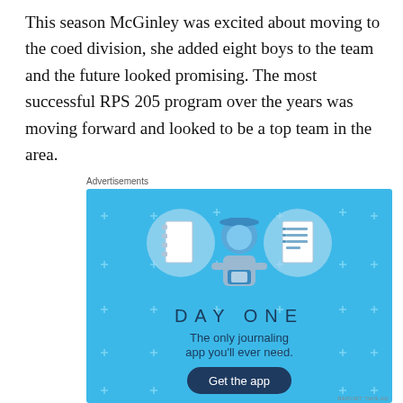This season McGinley was excited about moving to the coed division, she added eight boys to the team and the future looked promising. The most successful RPS 205 program over the years was moving forward and looked to be a top team in the area.
[Figure (illustration): Day One journaling app advertisement. Blue background with plus signs scattered. Three circular icons showing a notebook, a person holding a phone, and a list/document. Text reads 'DAY ONE' and 'The only journaling app you'll ever need.' with a 'Get the app' button.]